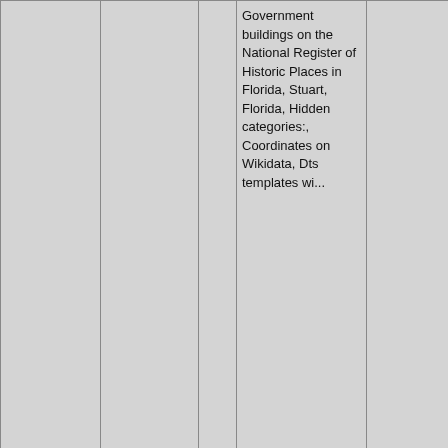| # | Name | Link | Categories | Photo |
| --- | --- | --- | --- | --- |
|  |  |  | Government buildings on the National Register of Historic Places in Florida, Stuart, Florida, Hidden categories:, Coordinates on Wikidata, Dts templates wi... |  |
| 28: 4.7mi | Georges Valentine (shipwreck) | 🔗 | National Register of Historic Places in Martin County, Florida, Shipwrecks of the Florida coast, Maritime incidents in 1904, Shipwrecks on the National Register of Historic Places, Florida Underwater Archaeological | [photo] |